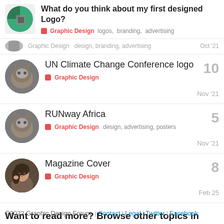What do you think about my first designed Logo? — Graphic Design  logos, branding, advertising
Graphic Design  design, branding, advertising  Oct '21
UN Climate Change Conference logo — Graphic Design — Nov '21 — 10
RUNway Africa — Graphic Design  design, advertising, posters — Nov '21 — 5
Magazine Cover — Graphic Design — Feb 25 — 8
Want to read more? Browse other topics in Graphic Design or view latest topics.
©2022 Graphic Design Forum | Contact | Legal | Twitter | Facebook